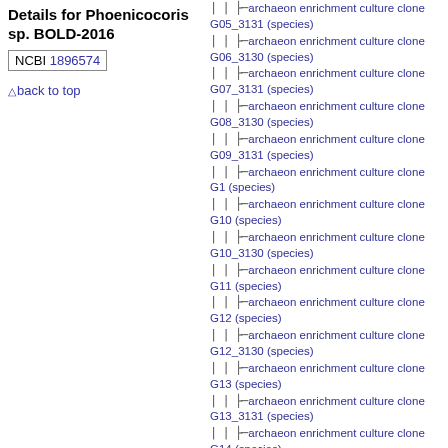Details for Phoenicocoris sp. BOLD-2016
NCBI 1896574
back to top
archaeon enrichment culture clone G05_3131 (species)
archaeon enrichment culture clone G06_3130 (species)
archaeon enrichment culture clone G07_3131 (species)
archaeon enrichment culture clone G08_3130 (species)
archaeon enrichment culture clone G09_3131 (species)
archaeon enrichment culture clone G1 (species)
archaeon enrichment culture clone G10 (species)
archaeon enrichment culture clone G10_3130 (species)
archaeon enrichment culture clone G11 (species)
archaeon enrichment culture clone G12 (species)
archaeon enrichment culture clone G12_3130 (species)
archaeon enrichment culture clone G13 (species)
archaeon enrichment culture clone G13_3131 (species)
archaeon enrichment culture clone G14 (species)
archaeon enrichment culture clone G14_3130 (species)